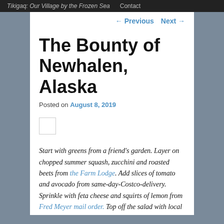Tikigaq: Our Village by the Frozen Sea   Contact
← Previous   Next →
The Bounty of Newhalen, Alaska
Posted on August 8, 2019
[Figure (other): Small image placeholder square]
Start with greens from a friend's garden. Layer on chopped summer squash, zucchini and roasted beets from the Farm Lodge. Add slices of tomato and avocado from same-day-Costco-delivery. Sprinkle with feta cheese and squirts of lemon from Fred Meyer mail order. Top off the salad with local hand-picked blueberries and cedar-plank grilled wild sockeye salmon from the Newhalen